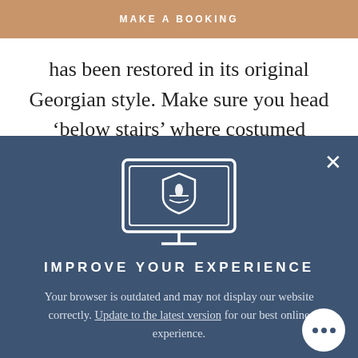MAKE A BOOKING
has been restored in its original Georgian style. Make sure you head ‘below stairs’ where costumed interpreters create an interactive experience of life in
[Figure (illustration): Monitor/computer screen icon displaying a shield emblem, rendered as a white line drawing on a dark blue background]
IMPROVE YOUR EXPERIENCE
Your browser is outdated and may not display our website correctly. Update to the latest version for our best online experience.